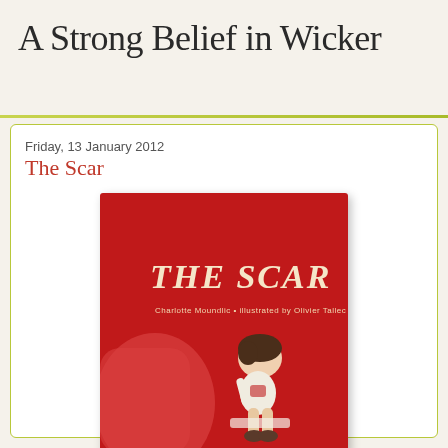A Strong Belief in Wicker
Friday, 13 January 2012
The Scar
[Figure (illustration): Book cover of 'The Scar' — red background with illustrated child sitting hunched, text reads 'THE SCAR' in hand-lettered style, subtitle 'Charlotte Moundlic • illustrated by Olivier Tallec']